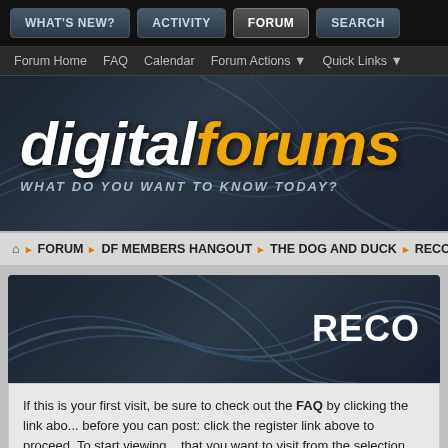WHAT'S NEW? | ACTIVITY | FORUM | SEARCH
Forum Home  FAQ  Calendar  Forum Actions  Quick Links
[Figure (logo): digitalforums logo — 'digital' in white italic bold, 'forums' in yellow/gold italic bold, tagline 'WHAT DO YOU WANT TO KNOW TODAY?' below in grey italic caps]
FORUM ▶ DF MEMBERS HANGOUT ▶ THE DOG AND DUCK ▶ RECOR...
[Figure (screenshot): Dark forum thread header banner with decorative swirl lines and large white bold uppercase text 'RECO' (clipped at right edge)]
If this is your first visit, be sure to check out the FAQ by clicking the link abo... before you can post: click the register link above to proceed. To start viewing... that you want to visit from the selection below.